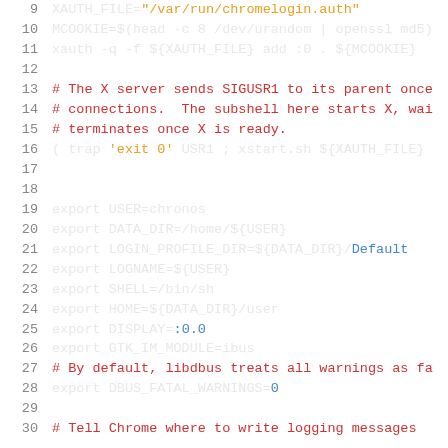[Figure (screenshot): Shell script source code snippet showing lines 9-30 with syntax highlighting. Lines 9-11 show XAUTH_FILE and MCOOKIE variable assignments and xauth command. Lines 13-16 show comments about X server SIGUSR1 and a trap command. Lines 19-28 show export statements for USER, DATA_DIR, LOGIN_PROFILE_DIR, LOGNAME, SHELL, HOME, DISPLAY, GTK_IM_MODULE, and DBUS_FATAL_WARNINGS. Line 27 has a comment about libdbus. Line 30 is partially visible with a comment about Chrome logging.]